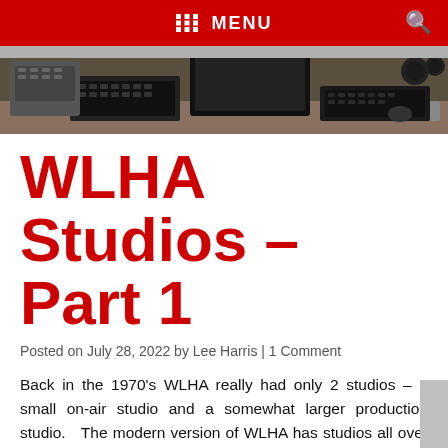MENU
[Figure (photo): Radio studio desk with keyboards, monitors, and audio equipment]
WLHA Studios – Part 1
Posted on July 28, 2022 by Lee Harris | 1 Comment
Back in the 1970's WLHA really had only 2 studios – a small on-air studio and a somewhat larger production studio.   The modern version of WLHA has studios all over the US and in the UK.  In this series we will explore the wide variety of equipment and configurations of our various studios.  We'll start [...]